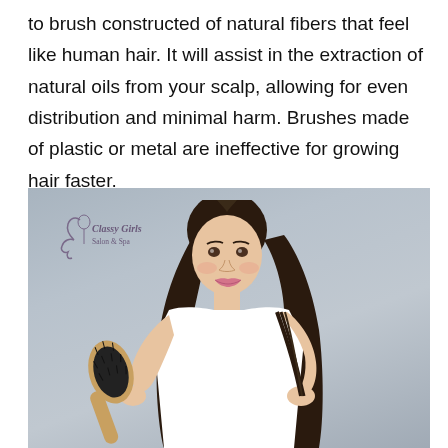to brush constructed of natural fibers that feel like human hair. It will assist in the extraction of natural oils from your scalp, allowing for even distribution and minimal harm. Brushes made of plastic or metal are ineffective for growing hair faster.
[Figure (photo): A young woman with long dark straight hair holds up a wooden oval paddle hairbrush with black bristles in one hand, and holds the ends of her hair in the other hand. She is wearing a white t-shirt and smiling. The background is a neutral grey-blue. A salon logo (Classy Girls Salon & Spa) appears in the upper left corner of the photo.]